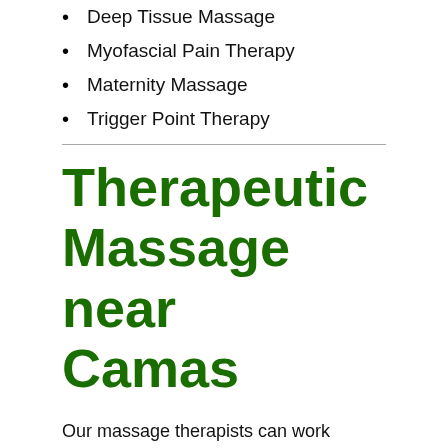Deep Tissue Massage
Myofascial Pain Therapy
Maternity Massage
Trigger Point Therapy
Therapeutic Massage near Camas
Our massage therapists can work independently or hand-in-hand with our chiropractor to help you get the most well-rounded treatment for your sports injury, auto accident rehabilitation, headache relief, or other troubled areas of pain.